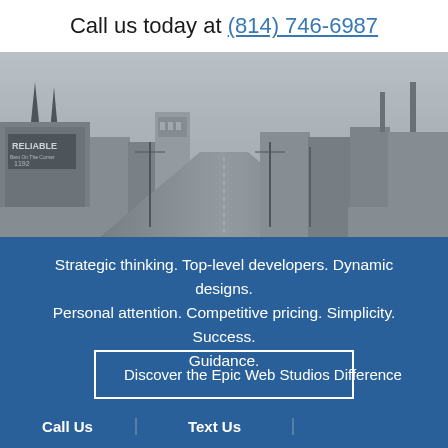Call us today at (814) 746-6987
[Figure (photo): Black and white historical aerial/street-level photograph of a city main street with buildings including one labeled 'RELIABLE', streetcar tracks, utility poles, and distant church spires and industrial smokestacks.]
Strategic thinking. Top-level developers. Dynamic designs. Personal attention. Competitive pricing. Simplicity. Success. Guidance.
Discover the Epic Web Studios Difference
Call Us
Text Us